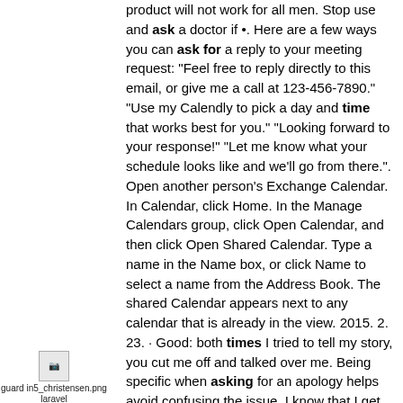[Figure (illustration): A small broken/placeholder image icon with text label 'guard in5_christensen.png laravel 8' below it]
product will not work for all men. Stop use and ask a doctor if •. Here are a few ways you can ask for a reply to your meeting request: "Feel free to reply directly to this email, or give me a call at 123-456-7890." "Use my Calendly to pick a day and time that works best for you." "Looking forward to your response!" "Let me know what your schedule looks like and we'll go from there.". Open another person's Exchange Calendar. In Calendar, click Home. In the Manage Calendars group, click Open Calendar, and then click Open Shared Calendar. Type a name in the Name box, or click Name to select a name from the Address Book. The shared Calendar appears next to any calendar that is already in the view. 2015. 2. 23. · Good: both times I tried to tell my story, you cut me off and talked over me. Being specific when asking for an apology helps avoid confusing the issue. I know that I get offended when people lie to me, even inconsequential. Just say you are moving xx day and will be out from xx to xx times. Today on a scheduling call, three people